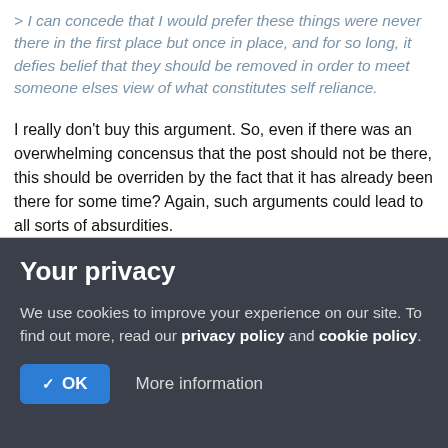> I can concede that I would prefer these things were never there in the first place but once in place, and for so long, it defies belief that they should be removed in order to meet someone elses view of what constitutes self reliance.
I really don't buy this argument. So, even if there was an overwhelming concensus that the post should not be there, this should be overriden by the fact that it has already been there for some time? Again, such arguments could lead to all sorts of absurdities.
Your privacy
We use cookies to improve your experience on our site. To find out more, read our privacy policy and cookie policy.